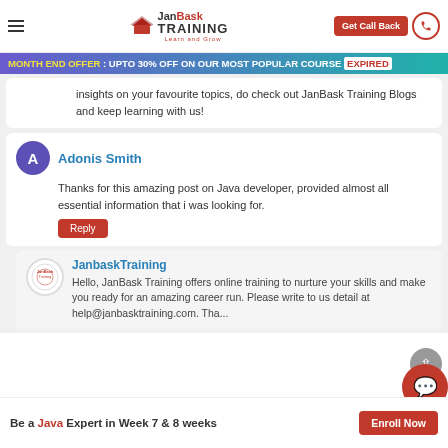JanBask Training - Learn and Grow | Get Call Back
MONTH END OFFER : UPTO 30% OFF ON OUR MOST POPULAR COURSE EXPIRED
insights on your favourite topics, do check out JanBask Training Blogs and keep learning with us!
Adonis Smith
Thanks for this amazing post on Java developer, provided almost all essential information that i was looking for.
JanbaskTraining
Hello, JanBask Training offers online training to nurture your skills and make you ready for an amazing career run. Please write to us detail at help@janbasktraining.com. Tha...
Be a Java Expert in Week 7 & 8 weeks  Enroll Now